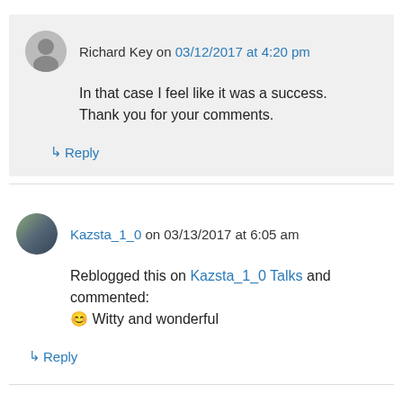Richard Key on 03/12/2017 at 4:20 pm
In that case I feel like it was a success. Thank you for your comments.
↳ Reply
Kazsta_1_0 on 03/13/2017 at 6:05 am
Reblogged this on Kazsta_1_0 Talks and commented: 😊 Witty and wonderful
↳ Reply
greenteeth on 03/13/2017 at 7:22 am